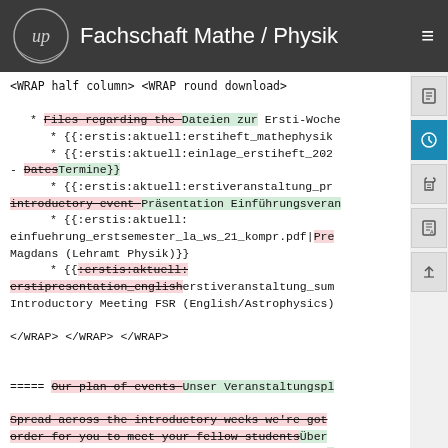Fachschaft Mathe / Physik
<WRAP half column> <WRAP round download>
* Files regarding the Dateien zur Ersti-Woche
  * {{:erstis:aktuell:erstiheft_mathephysik...
  * {{:erstis:aktuell:einlage_erstiheft_202...
- DatesTermine}}
  * {{:erstis:aktuell:erstiveranstaltung_pr...
  introductory event Präsentation Einführungsveranstaltung...
  * {{:erstis:aktuell:einfuehrung_erstsemester_la_ws_21_kompr.pdf|Pre...
  Magdans (Lehramt Physik)}}
  * {{:erstis:aktuell:
  erstipresentation_englisherstiveranstaltung_sum...
  Introductory Meeting FSR (English/Astrophysics)...
</WRAP> </WRAP> </WRAP>
===== Our plan of events Unser Veranstaltungspl...
Spread across the introductory weeks we're got order for you to meet your fellow studentsÜber... haben wir für euch einige Veranstaltungen zum K... Mitstudierenden, acquire tools of assistance to...